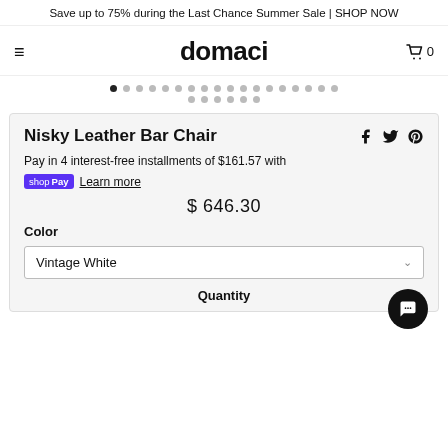Save up to 75% during the Last Chance Summer Sale | SHOP NOW
[Figure (logo): domaci store logo with hamburger menu and cart icon showing 0 items]
[Figure (other): Two rows of navigation dots indicating image carousel position]
Nisky Leather Bar Chair
Pay in 4 interest-free installments of $161.57 with shopPay Learn more
$ 646.30
Color
Vintage White
Quantity